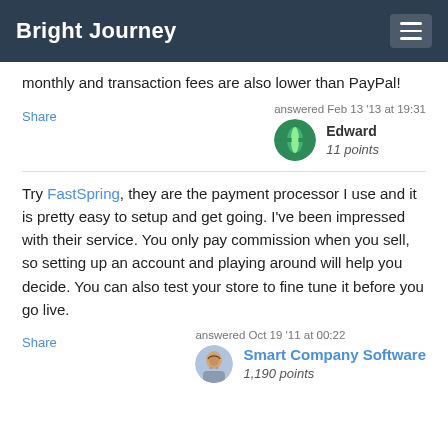Bright Journey
monthly and transaction fees are also lower than PayPal!
Share
answered Feb 13 '13 at 19:31
Edward
11 points
Try FastSpring, they are the payment processor I use and it is pretty easy to setup and get going. I've been impressed with their service. You only pay commission when you sell, so setting up an account and playing around will help you decide. You can also test your store to fine tune it before you go live.
Share
answered Oct 19 '11 at 00:22
Smart Company Software
1,190 points